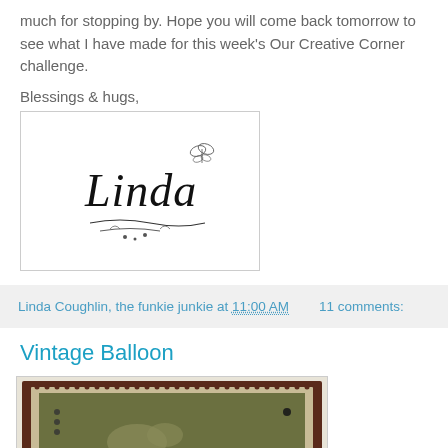much for stopping by. Hope you will come back tomorrow to see what I have made for this week's Our Creative Corner challenge.
Blessings & hugs,
[Figure (illustration): Handwritten signature 'Linda' with decorative flourishes and a small butterfly illustration]
Linda Coughlin, the funkie junkie at 11:00 AM    11 comments:
Vintage Balloon
[Figure (photo): A craft card with vintage stamp design featuring a bird on olive/green background with decorative border]